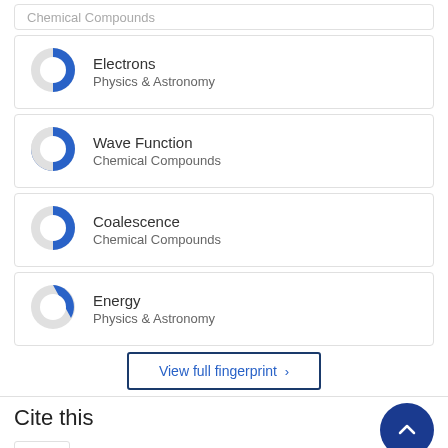Chemical Compounds (truncated top)
Electrons
Physics & Astronomy
Wave Function
Chemical Compounds
Coalescence
Chemical Compounds
Energy
Physics & Astronomy
View full fingerprint ›
Cite this
APA   Author   BIBTEX   Harvard   …